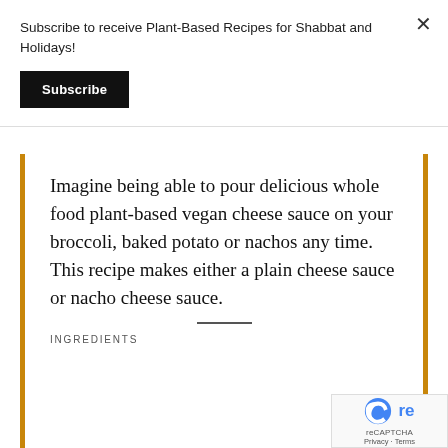Subscribe to receive Plant-Based Recipes for Shabbat and Holidays!
Subscribe
Imagine being able to pour delicious whole food plant-based vegan cheese sauce on your broccoli, baked potato or nachos any time. This recipe makes either a plain cheese sauce or nacho cheese sauce.
INGREDIENTS